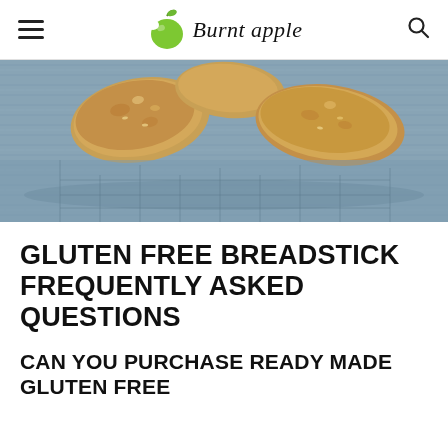Burnt apple
[Figure (photo): Close-up photo of gluten free breadsticks resting on a blue knitted cloth/towel]
GLUTEN FREE BREADSTICK FREQUENTLY ASKED QUESTIONS
CAN YOU PURCHASE READY MADE GLUTEN FREE